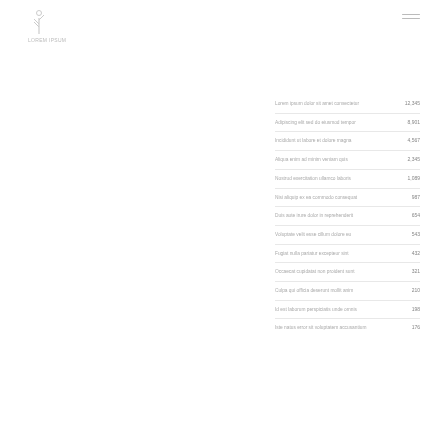[Figure (logo): Company logo with stylized plant/tree icon and small text below]
[Figure (other): Hamburger menu icon with two horizontal lines]
Content rows with labels and values listed on the right side of the page